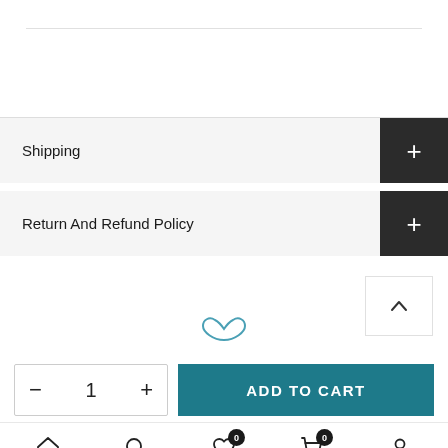Shipping
Return And Refund Policy
ADD TO CART
Home  Search  Wishlist  Cart  Account